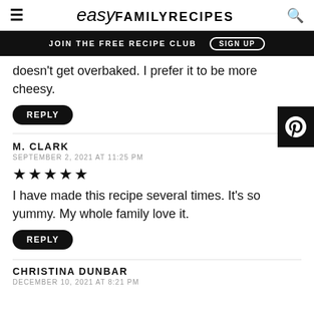easy FAMILY RECIPES
JOIN THE FREE RECIPE CLUB  SIGN UP
doesn't get overbaked. I prefer it to be more cheesy.
REPLY
M. CLARK
SEPTEMBER 2, 2021 AT 11:25 PM
★★★★★
I have made this recipe several times. It's so yummy. My whole family love it.
REPLY
CHRISTINA DUNBAR
DECEMBER 10, 2021 AT 8:21 PM